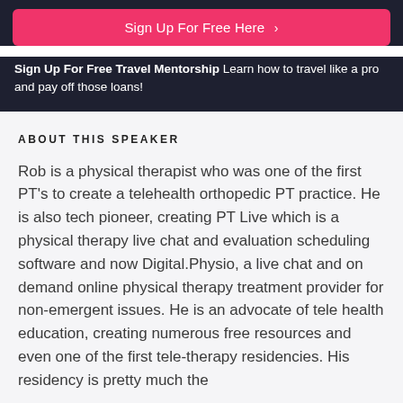Sign Up For Free Here >
Sign Up For Free Travel Mentorship Learn how to travel like a pro and pay off those loans!
ABOUT THIS SPEAKER
Rob is a physical therapist who was one of the first PT's to create a telehealth orthopedic PT practice. He is also tech pioneer, creating PT Live which is a physical therapy live chat and evaluation scheduling software and now Digital.Physio, a live chat and on demand online physical therapy treatment provider for non-emergent issues. He is an advocate of tele health education, creating numerous free resources and even one of the first tele-therapy residencies. His residency is pretty much the